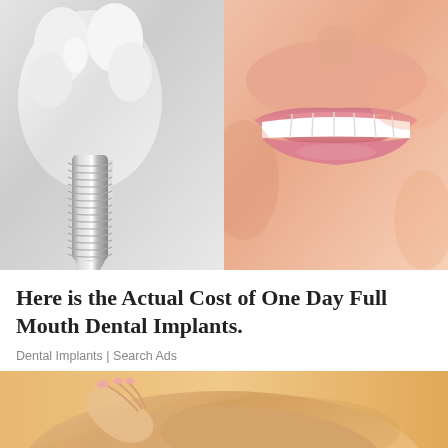[Figure (photo): Left half: dental implant model showing white ceramic tooth crown on a threaded metallic titanium screw post, on light gray background. Right half: close-up of a person smiling showing bright white teeth and pink lips.]
Here is the Actual Cost of One Day Full Mouth Dental Implants.
Dental Implants | Search Ads
[Figure (photo): Close-up photo of a person's shoulder/neck area with a hand touching it, on a warm peach/orange background, suggesting a massage or pain relief advertisement.]